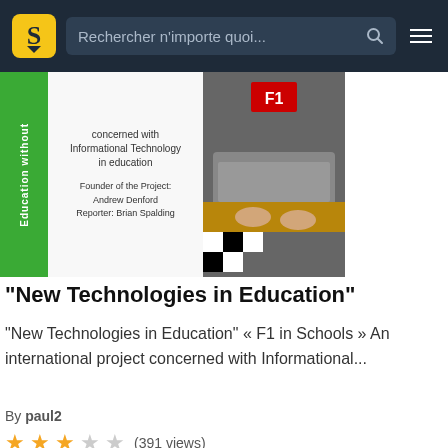Rechercher n'importe quoi...
[Figure (screenshot): Document thumbnail showing 'Education without' green strip, text about F1 in Schools project concerned with Informational Technology in education, Founder Andrew Denford, Reporter Brian Spalding, and a photo of F1 model cars]
“New Technologies in Education”
“New Technologies in Education” « F1 in Schools » An international project concerned with Informational...
By paul2
(391 views)
[Figure (screenshot): Black background image with text 'I Can Read, So You Can Too!' and illustration of a character reading a book]